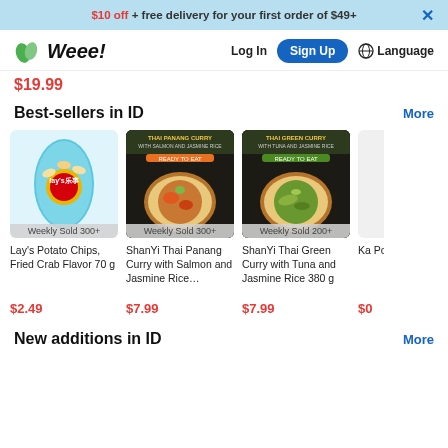$10 off + free delivery for your first order of $49+
[Figure (logo): Weee! grocery delivery app logo with green leaf icon]
$19.99 (partial price shown, cropped)
Best-sellers in ID | More
[Figure (photo): Lay's Potato Chips Fried Crab Flavor 70g - Weekly Sold 300+]
[Figure (photo): ShanYi Thai Panang Curry with Salmon and Jasmine Rice - Weekly Sold 300+]
[Figure (photo): ShanYi Thai Green Curry with Tuna and Jasmine Rice 380g - Weekly Sold 200+]
Lay's Potato Chips, Fried Crab Flavor 70 g
$2.49
ShanYi Thai Panang Curry with Salmon and Jasmine Rice…
$7.99
ShanYi Thai Green Curry with Tuna and Jasmine Rice 380 g
$7.99
Ka Po (partial)
$0 (partial)
New additions in ID | More